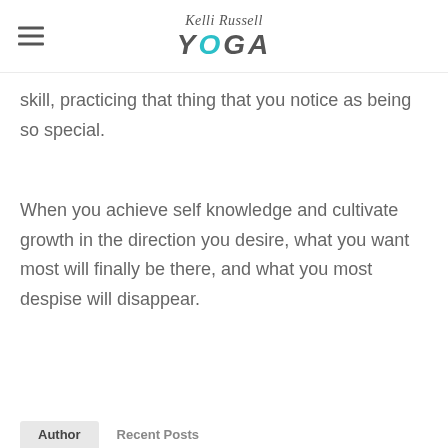Kelli Russell YOGA
skill, practicing that thing that you notice as being so special.
When you achieve self knowledge and cultivate growth in the direction you desire, what you want most will finally be there, and what you most despise will disappear.
Author   Recent Posts